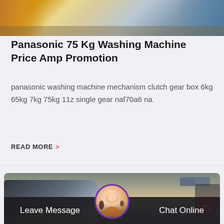[Figure (photo): Top portion of an outdoor industrial/construction site with equipment and scaffolding visible]
Panasonic 75 Kg Washing Machine Price Amp Promotion
panasonic washing machine mechanism clutch gear box 6kg 65kg 7kg 75kg 11z single gear naf70a6 na.
READ MORE >
[Figure (photo): Aerial view of a quarry/mining site with heavy machinery, loaders, vehicles, conveyor belts, and earthworks on a hillside terrain]
Leave Message
Chat Online